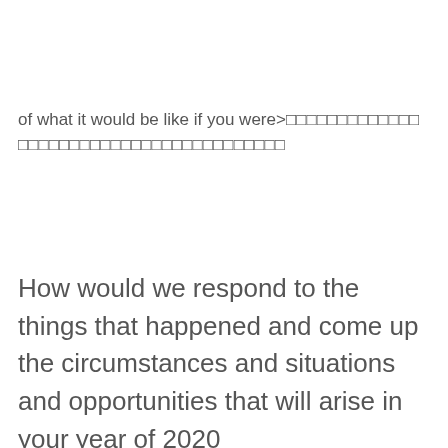of what it would be like if you were>□□□□□□□□□□□□□□□□□□□□□□□□□□□□□□□□□□□□□□□□□□□
How would we respond to the things that happened and come up the circumstances and situations and opportunities that will arise in your year of 2020